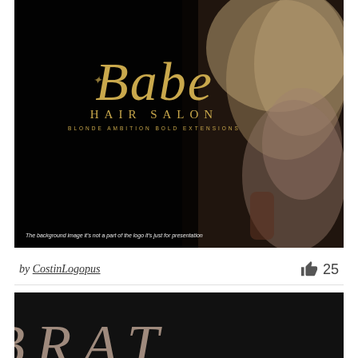[Figure (photo): Dark background photo of a woman with long blonde wavy hair wearing a beige bodycon dress, seated. Overlaid with gold script 'Babe' logo, 'HAIR SALON' in gold uppercase serif, and 'BLONDE AMBITION BOLD EXTENSIONS' tagline. Bottom-left disclaimer reads: The background image it's not a part of the logo it's just for presentation.]
by CostinLogopus
25
[Figure (photo): Dark background image partially showing large serif italic letters that appear to spell 'BAT' or similar, in a muted golden/cream color, cut off at bottom of page.]